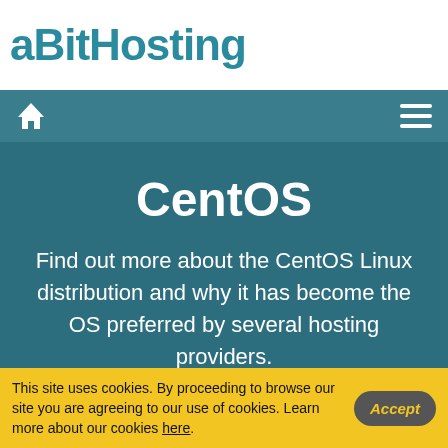aBitHosting
[Figure (screenshot): Navigation bar with home icon and hamburger menu icon on dark teal background]
CentOS
Find out more about the CentOS Linux distribution and why it has become the OS preferred by several hosting providers.
Home / Support / Terminology / CentOS
This site uses cookies. By proceeding to browse our site you are agreeing to our use of cookies. Learn more about our cookies here.